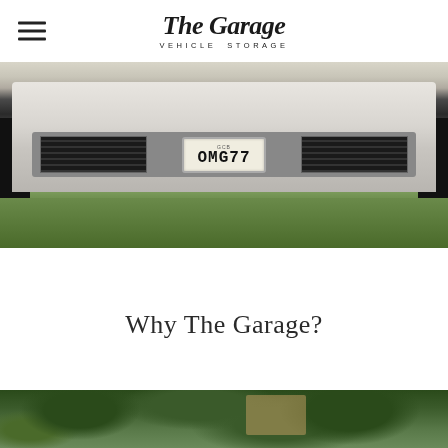The Garage Vehicle Storage
[Figure (photo): Close-up photo of the front bumper of a white classic car (Corvette) with license plate reading OMG77, parked on grass]
Why The Garage?
[Figure (photo): Photo of lush green garden/foliage with a building partially visible in the background]